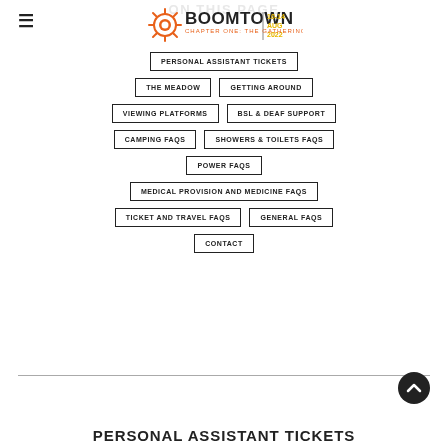ON THIS PAGE
[Figure (logo): Boomtown festival logo with sun/gear icon, text BOOMTOWN CHAPTER ONE: THE GATHERING, date 10-14 AUG 2022]
PERSONAL ASSISTANT TICKETS
THE MEADOW
GETTING AROUND
VIEWING PLATFORMS
BSL & DEAF SUPPORT
CAMPING FAQS
SHOWERS & TOILETS FAQS
POWER FAQS
MEDICAL PROVISION AND MEDICINE FAQS
TICKET AND TRAVEL FAQS
GENERAL FAQS
CONTACT
PERSONAL ASSISTANT TICKETS